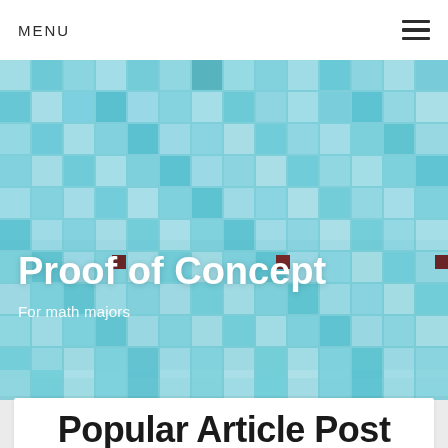MENU
[Figure (illustration): Hero banner with a mosaic/pixel tile pattern background in shades of light blue and teal, featuring scattered dark red/maroon pixel squares. White bold text reads 'Proof of Concept' with subtitle 'For math majors'.]
Proof of Concept
For math majors
Popular Article Post (partially visible)